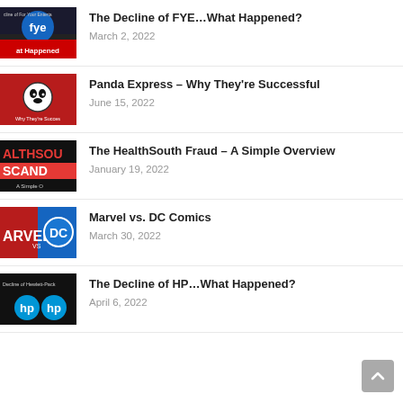The Decline of FYE…What Happened?
March 2, 2022
Panda Express – Why They're Successful
June 15, 2022
The HealthSouth Fraud – A Simple Overview
January 19, 2022
Marvel vs. DC Comics
March 30, 2022
The Decline of HP…What Happened?
April 6, 2022